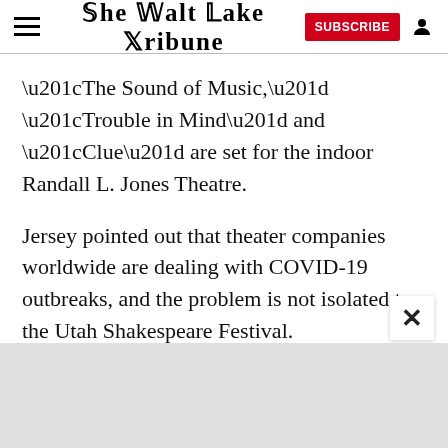The Salt Lake Tribune
“The Sound of Music,” “Trouble in Mind” and “Clue” are set for the indoor Randall L. Jones Theatre.
Jersey pointed out that theater companies worldwide are dealing with COVID-19 outbreaks, and the problem is not isolated to the Utah Shakespeare Festival.
The festival is scheduled to run through October 8 at Southern Utah University in Cedar City.